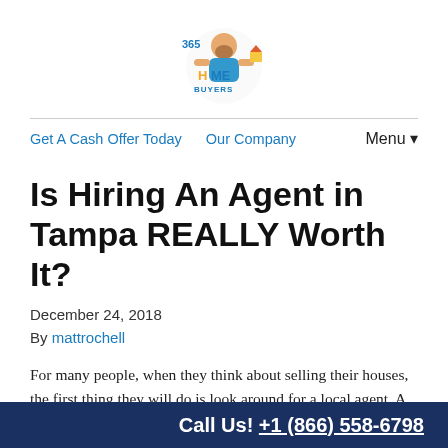[Figure (logo): 365 Home Buyers logo with cartoon character holding a house]
Get A Cash Offer Today   Our Company   Menu▼
Is Hiring An Agent in Tampa REALLY Worth It?
December 24, 2018
By mattrochell
For many people, when they think about selling their houses, the first thing they will do is look around for a local agent. A
Call Us! +1 (866) 558-6798